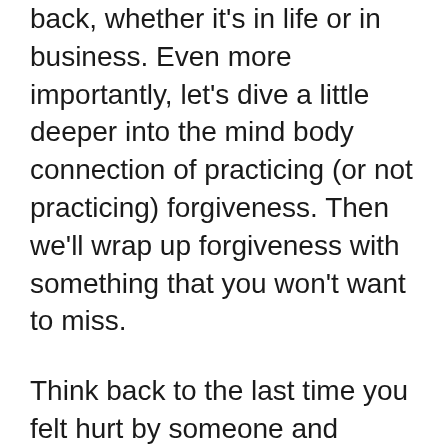back, whether it's in life or in business. Even more importantly, let's dive a little deeper into the mind body connection of practicing (or not practicing) forgiveness. Then we'll wrap up forgiveness with something that you won't want to miss.
Think back to the last time you felt hurt by someone and maybe you held a grudge. What did it feel like? Did you have trouble sleeping? Were you distracted from other, more important things? What did you lose because you chose to stay angry at the other person? Holding a grudge isn't good for you. Not only that, the person you're holding the grudge against probably doesn't even remember what they did. They are not suffering because you're upset. You are. You're holding on to all